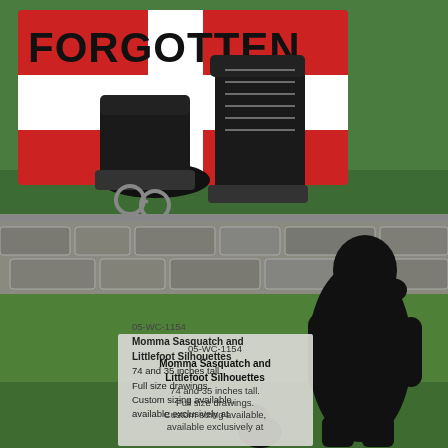[Figure (illustration): Yard art illustration showing a red and white flag/sign with the word FORGOTTEN in bold black stencil letters, with black military boots and handcuffs in front, set on green grass background.]
[Figure (photo): Photograph of a lawn/yard with green grass and a stone wall in background, showing black silhouette yard art figures of Momma Sasquatch and Littlefoot, with a product label card in the foreground.]
05-WC-1154
Momma Sasquatch and Littlefoot Silhouettes
74 and 35 inches tall.
Full size drawings.
Custom sizing available,
available exclusively at